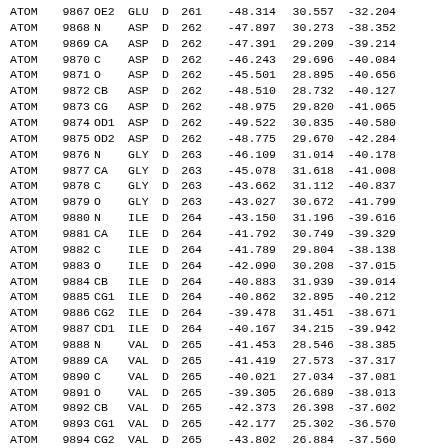| record | serial | name | res | chain | seq | x | y | z | ... |
| --- | --- | --- | --- | --- | --- | --- | --- | --- | --- |
| ATOM | 9867 | OE2 | GLU | D | 261 | -48.314 | 30.557 | -32.204 |  |
| ATOM | 9868 | N | ASP | D | 262 | -47.897 | 30.273 | -38.352 |  |
| ATOM | 9869 | CA | ASP | D | 262 | -47.391 | 29.209 | -39.214 |  |
| ATOM | 9870 | C | ASP | D | 262 | -46.243 | 29.696 | -40.084 |  |
| ATOM | 9871 | O | ASP | D | 262 | -45.501 | 28.895 | -40.656 |  |
| ATOM | 9872 | CB | ASP | D | 262 | -48.510 | 28.732 | -40.127 |  |
| ATOM | 9873 | CG | ASP | D | 262 | -48.975 | 29.820 | -41.065 |  |
| ATOM | 9874 | OD1 | ASP | D | 262 | -49.522 | 30.835 | -40.580 |  |
| ATOM | 9875 | OD2 | ASP | D | 262 | -48.775 | 29.670 | -42.284 |  |
| ATOM | 9876 | N | GLY | D | 263 | -46.109 | 31.014 | -40.178 |  |
| ATOM | 9877 | CA | GLY | D | 263 | -45.078 | 31.618 | -41.008 |  |
| ATOM | 9878 | C | GLY | D | 263 | -43.662 | 31.112 | -40.837 |  |
| ATOM | 9879 | O | GLY | D | 263 | -43.027 | 30.672 | -41.799 |  |
| ATOM | 9880 | N | ILE | D | 264 | -43.150 | 31.196 | -39.616 |  |
| ATOM | 9881 | CA | ILE | D | 264 | -41.792 | 30.749 | -39.329 |  |
| ATOM | 9882 | C | ILE | D | 264 | -41.789 | 29.804 | -38.138 |  |
| ATOM | 9883 | O | ILE | D | 264 | -42.090 | 30.208 | -37.015 |  |
| ATOM | 9884 | CB | ILE | D | 264 | -40.883 | 31.939 | -39.014 |  |
| ATOM | 9885 | CG1 | ILE | D | 264 | -40.862 | 32.895 | -40.212 |  |
| ATOM | 9886 | CG2 | ILE | D | 264 | -39.478 | 31.451 | -38.671 |  |
| ATOM | 9887 | CD1 | ILE | D | 264 | -40.167 | 34.215 | -39.942 |  |
| ATOM | 9888 | N | VAL | D | 265 | -41.453 | 28.546 | -38.385 |  |
| ATOM | 9889 | CA | VAL | D | 265 | -41.419 | 27.573 | -37.317 |  |
| ATOM | 9890 | C | VAL | D | 265 | -40.021 | 27.034 | -37.081 |  |
| ATOM | 9891 | O | VAL | D | 265 | -39.305 | 26.689 | -38.013 |  |
| ATOM | 9892 | CB | VAL | D | 265 | -42.373 | 26.398 | -37.602 |  |
| ATOM | 9893 | CG1 | VAL | D | 265 | -42.177 | 25.302 | -36.570 |  |
| ATOM | 9894 | CG2 | VAL | D | 265 | -43.802 | 26.884 | -37.560 |  |
| ATOM | 9895 | N | LEU | D | 266 | -39.635 | 26.986 | -35.814 |  |
| ATOM | 9896 | CA | LEU | D | 266 | -38.333 | 26.471 | -35.423 |  |